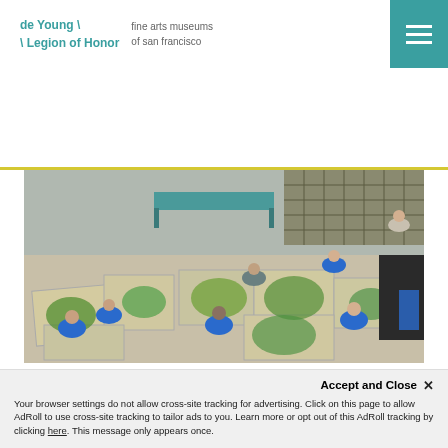de Young \ \Legion of Honor | fine arts museums of san francisco
Continue reading
[Figure (photo): Children in blue t-shirts sitting on the floor around large canvas artworks, painting in a workshop setting]
Accept and Close ×
Your browser settings do not allow cross-site tracking for advertising. Click on this page to allow AdRoll to use cross-site tracking to tailor ads to you. Learn more or opt out of this AdRoll tracking by clicking here. This message only appears once.